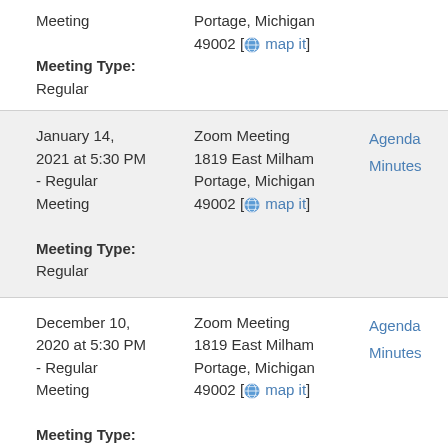Meeting

Meeting Type:
Regular

Zoom Meeting 1819 East Milham Portage, Michigan 49002 [map it]
January 14, 2021 at 5:30 PM - Regular Meeting

Meeting Type:
Regular

Zoom Meeting 1819 East Milham Portage, Michigan 49002 [map it]

Agenda
Minutes
December 10, 2020 at 5:30 PM - Regular Meeting

Meeting Type:
Regular

Zoom Meeting 1819 East Milham Portage, Michigan 49002 [map it]

Agenda
Minutes